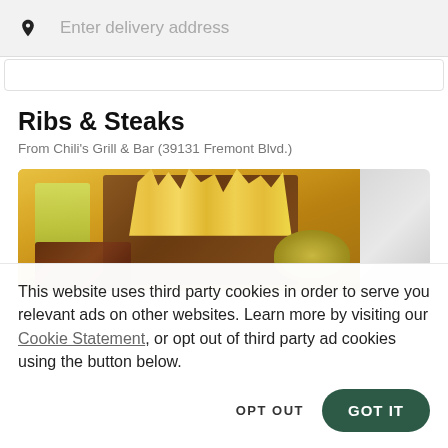Enter delivery address
Ribs & Steaks
From Chili's Grill & Bar (39131 Fremont Blvd.)
[Figure (photo): Food photo showing french fries in a metal basket, a yellow-green beverage, and grilled meat on a plate]
This website uses third party cookies in order to serve you relevant ads on other websites. Learn more by visiting our Cookie Statement, or opt out of third party ad cookies using the button below.